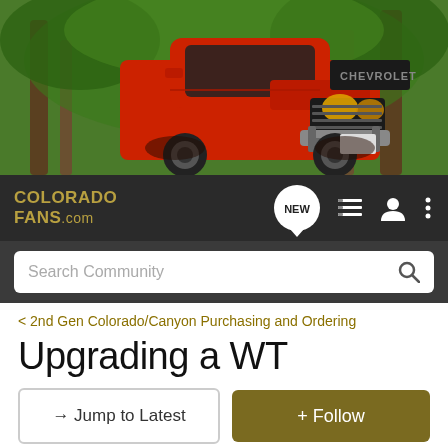[Figure (photo): Red Chevrolet Colorado ZR2 truck facing forward in a forest setting with green trees in background]
[Figure (screenshot): ColoradoFans.com navigation bar with logo, NEW chat bubble badge, list icon, user icon, and three-dot menu icon]
Search Community
< 2nd Gen Colorado/Canyon Purchasing and Ordering
Upgrading a WT
→ Jump to Latest
+ Follow
Hey Everyone! Enter your ride HERE to be a part of this months Ride of the Month Challenge!